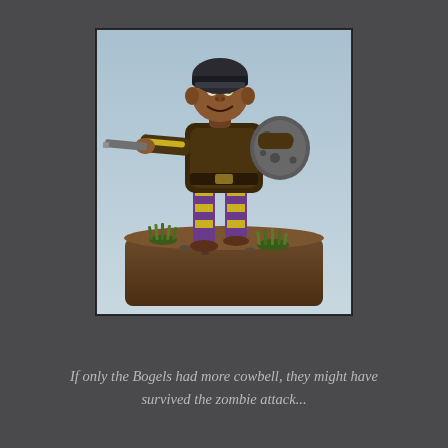[Figure (photo): A painted tabletop miniature figurine of a small goblin-like creature (Bogel) holding a sword extended forward and carrying a round shield on its back. The figure wears a black helmet and has purple and yellow striped clothing. It stands on a brown rectangular base decorated with small green grass tufts and pebbles. The background of the photo is a light blue-gray gradient.]
If only the Bogels had more cowbell, they might have survived the zombie attack...